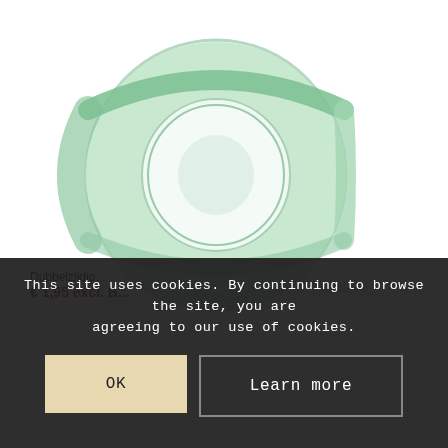[Figure (photo): A roll of green double-sided adhesive tape (narrow width) standing on a reflective white surface, showing the side profile with tape tail extending out to the lower right.]
This site uses cookies. By continuing to browse the site, you are agreeing to our use of cookies.
Dubbelzijdig...
€ 1,95 excl. B...